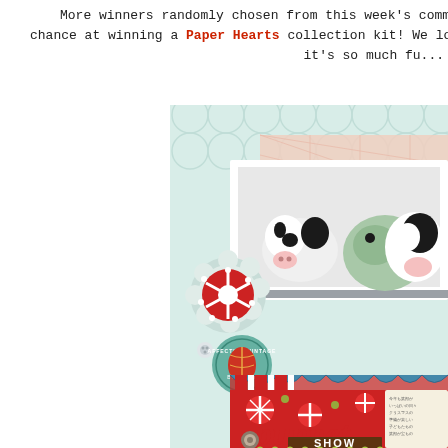More winners randomly chosen from this week's comments will have a chance at winning a Paper Hearts collection kit! We love seeing your pages, it's so much fu...
[Figure (photo): A scrapbook layout page featuring stuffed animal cow and hippo puppets in a photo, with decorative patterned papers in mint, pink, and red/white candy stripe. A circular badge reads 'AFFECTION VINTAGE BIOLOGY'. The bottom shows 'puppet SHOW' text in red and brown letters on patterned background. Decorative scalloped borders and embellishments visible.]